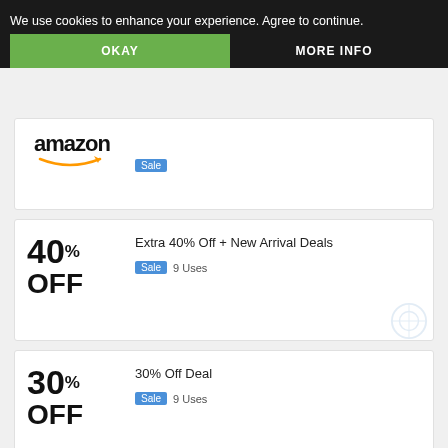We use cookies to enhance your experience. Agree to continue.
OKAY
MORE INFO
Summer Sale 2022 Special Everyday rs on Amazon
[Figure (logo): Amazon logo with orange smile arrow]
Sale
Extra 40% Off + New Arrival Deals
Sale  9 Uses
30% Off Deal
Sale  9 Uses
20% Off Promotion
Sale  1 Uses